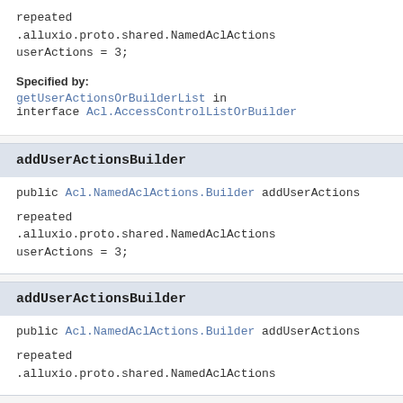repeated
.alluxio.proto.shared.NamedAclActions
userActions = 3;
Specified by:
getUserActionsOrBuilderList in interface Acl.AccessControlListOrBuilder
addUserActionsBuilder
public Acl.NamedAclActions.Builder addUserActions
repeated
.alluxio.proto.shared.NamedAclActions
userActions = 3;
addUserActionsBuilder
public Acl.NamedAclActions.Builder addUserActions
repeated
.alluxio.proto.shared.NamedAclActions